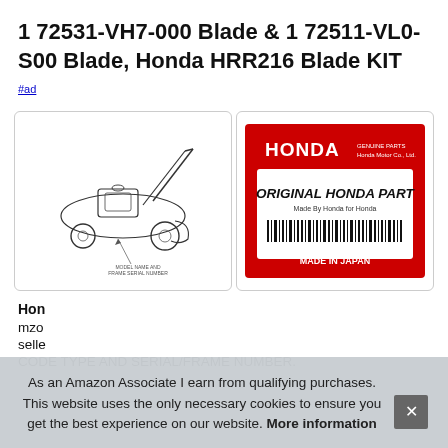1 72531-VH7-000 Blade & 1 72511-VL0-S00 Blade, Honda HRR216 Blade KIT
#ad
[Figure (illustration): Line drawing of Honda HRR216 lawn mower with text 'MODEL NAME AND FRAME SERIAL NUMBER']
[Figure (illustration): Honda Genuine Parts label: red background with HONDA logo, white box reading 'ORIGINAL HONDA PART', 'Made By Honda for Honda', barcode, 'MADE IN JAPAN']
Hon
mzo
selle
CODE TYPE AND SERIAL/FRAME NUMBER.
As an Amazon Associate I earn from qualifying purchases. This website uses the only necessary cookies to ensure you get the best experience on our website. More information